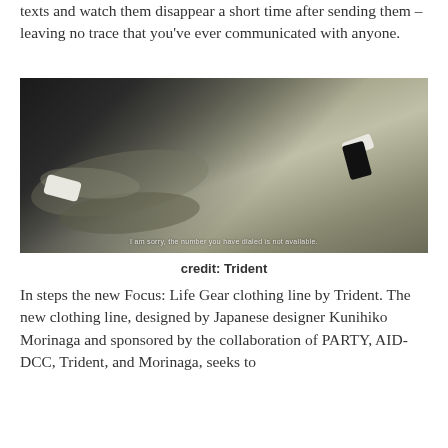texts and watch them disappear a short time after sending them – leaving no trace that you've ever communicated with anyone.
[Figure (photo): A person in a dark jacket leaning over fabric/clothing laid flat, holding a phone, with subtitle overlay text reading 'I am sorry, the number you have dialed is not available.']
credit: Trident
In steps the new Focus: Life Gear clothing line by Trident. The new clothing line, designed by Japanese designer Kunihiko Morinaga and sponsored by the collaboration of PARTY, AID-DCC, Trident, and Morinaga, seeks to